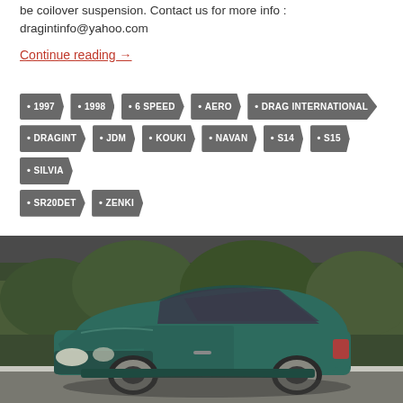be coilover suspension. Contact us for more info : dragintinfo@yahoo.com
Continue reading →
1997
1998
6 SPEED
AERO
DRAG INTERNATIONAL
DRAGINT
JDM
KOUKI
NAVAN
S14
S15
SILVIA
SR20DET
ZENKI
[Figure (photo): A dark green Nissan Silvia S14 sports car parked in a parking lot, viewed from a front three-quarter angle, with trees/shrubs in the background.]